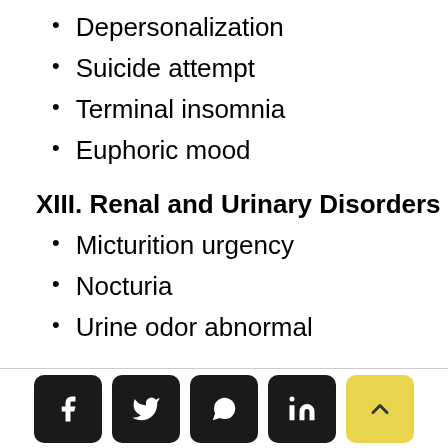Depersonalization
Suicide attempt
Terminal insomnia
Euphoric mood
XIII. Renal and Urinary Disorders
Micturition urgency
Nocturia
Urine odor abnormal
XIV. Reproductive System and Breast Disorders
Social share buttons and scroll-to-top